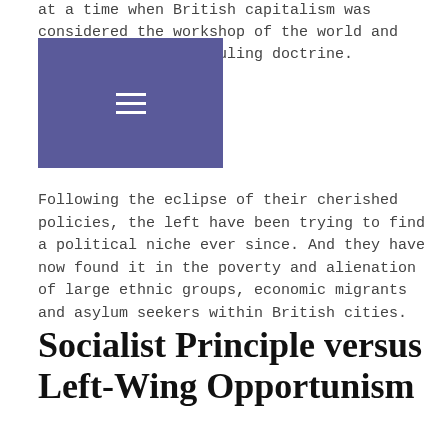at a time when British capitalism was considered the workshop of the world and free trade was the ruling doctrine.
[Figure (other): Navigation menu overlay (hamburger menu button on dark purple/indigo background)]
Following the eclipse of their cherished policies, the left have been trying to find a political niche ever since. And they have now found it in the poverty and alienation of large ethnic groups, economic migrants and asylum seekers within British cities.
Socialist Principle versus Left-Wing Opportunism
The SPGB does not share its platform with political parties, whether avowedly capitalist or not. We allow opponents to take our platform to state their case but only to show that their anti-working class ideas are demonstrably wrong and have nothing to offer the working class. Nor does The SPGB share a platform with